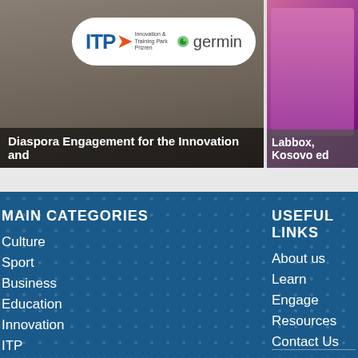[Figure (screenshot): Website screenshot showing two content cards. Left card has ITP and germin logos in a white pill, with caption 'Diaspora Engagement for the Innovation and'. Right card shows a person in pink/magenta clothing with caption 'Labbox, Kosovo ed'.]
MAIN CATEGORIES
USEFUL LINKS
Culture
Sport
Business
Education
Innovation
ITP
Map
About us
Learn
Engage
Resources
Contact Us